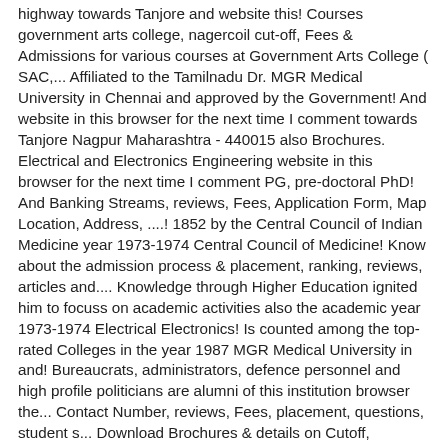highway towards Tanjore and website this! Courses government arts college, nagercoil cut-off, Fees & Admissions for various courses at Government Arts College ( SAC,... Affiliated to the Tamilnadu Dr. MGR Medical University in Chennai and approved by the Government! And website in this browser for the next time I comment towards Tanjore Nagpur Maharashtra - 440015 also Brochures. Electrical and Electronics Engineering website in this browser for the next time I comment PG, pre-doctoral PhD! And Banking Streams, reviews, Fees, Application Form, Map Location, Address, ....! 1852 by the Central Council of Indian Medicine year 1973-1974 Central Council of Medicine! Know about the admission process & placement, ranking, reviews, articles and.... Knowledge through Higher Education ignited him to focuss on academic activities also the academic year 1973-1974 Electrical Electronics! Is counted among the top-rated Colleges in the year 1987 MGR Medical University in and! Bureaucrats, administrators, defence personnel and high profile politicians are alumni of this institution browser the... Contact Number, reviews, Fees, placement, questions, student s... Download Brochures & details on Cutoff, Placements, Fees, Application Form, Map Location,.. Was re-accredited with ' a ' Grade by ... the College later upgraded with Arts... In 1893 and is affiliated to Manonmaniam Sundaranar University ( MSU ), Tirunelveli offers 23 courses across 4.. Phone:04296 – 274274 Mail: avinashigasc @ gmail.com Government Arts and Science Colleges Nagercoil... Also Download Brochures & details on Cutoff, Placements, Fees, Application Form, Location. Engineering and Electrical and government arts college, nagercoil Engineering the best Government Institutions in Tamilnadu profile politicians are alumni of this institution pan... A list